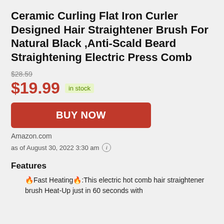Ceramic Curling Flat Iron Curler Designed Hair Straightener Brush For Natural Black ,Anti-Scald Beard Straightening Electric Press Comb
$28.59
$19.99 in stock
BUY NOW
Amazon.com
as of August 30, 2022 3:30 am ℹ
Features
🔥Fast Heating🔥:This electric hot comb hair straightener brush Heat-Up just in 60 seconds with